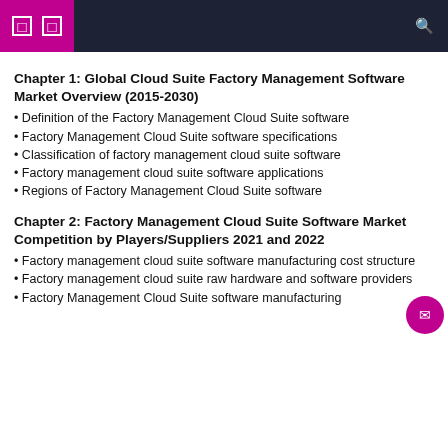navigation header with icons
Chapter 1: Global Cloud Suite Factory Management Software Market Overview (2015-2030)
Definition of the Factory Management Cloud Suite software
Factory Management Cloud Suite software specifications
Classification of factory management cloud suite software
Factory management cloud suite software applications
Regions of Factory Management Cloud Suite software
Chapter 2: Factory Management Cloud Suite Software Market Competition by Players/Suppliers 2021 and 2022
Factory management cloud suite software manufacturing cost structure
Factory management cloud suite raw hardware and software providers
Factory Management Cloud Suite software manufacturing process...